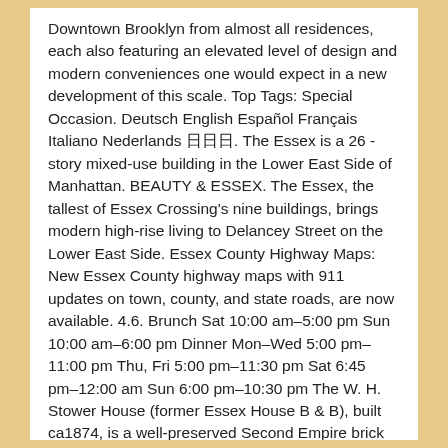Downtown Brooklyn from almost all residences, each also featuring an elevated level of design and modern conveniences one would expect in a new development of this scale. Top Tags: Special Occasion. Deutsch English Español Français Italiano Nederlands 日日日. The Essex is a 26 -story mixed-use building in the Lower East Side of Manhattan. BEAUTY & ESSEX. The Essex, the tallest of Essex Crossing's nine buildings, brings modern high-rise living to Delancey Street on the Lower East Side. Essex County Highway Maps: New Essex County highway maps with 911 updates on town, county, and state roads, are now available. 4.6. Brunch Sat 10:00 am–5:00 pm Sun 10:00 am–6:00 pm Dinner Mon–Wed 5:00 pm–11:00 pm Thu, Fri 5:00 pm–11:30 pm Sat 6:45 pm–12:00 am Sun 6:00 pm–10:30 pm The W. H. Stower House (former Essex House B & B), built ca1874, is a well-preserved Second Empire brick landmark on 1.5 acres just north of the